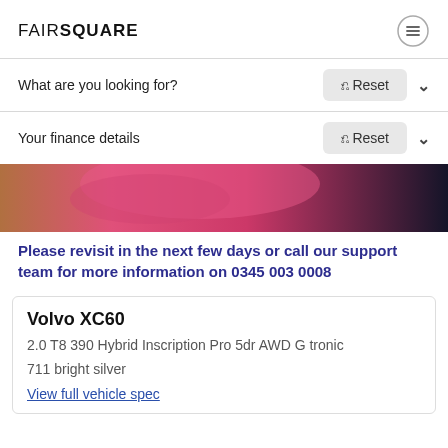FAIRSQUARE
What are you looking for?
Your finance details
[Figure (photo): Pink/red fabric or car cover with dark background, partial view]
Please revisit in the next few days or call our support team for more information on 0345 003 0008
Volvo XC60
2.0 T8 390 Hybrid Inscription Pro 5dr AWD Gtronic
711 bright silver
View full vehicle spec